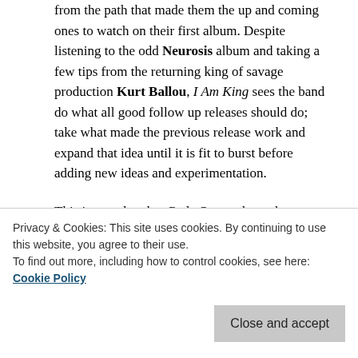from the path that made them the up and coming ones to watch on their first album. Despite listening to the odd Neurosis album and taking a few tips from the returning king of savage production Kurt Ballou, I Am King sees the band do what all good follow up releases should do; take what made the previous release work and expand that idea until it is fit to burst before adding new ideas and experimentation.
This is exactly what Code Orange have done on this album, taking their post-Hardcore meets Converge sound and ramping up the sludge and Neurosis elements almost to breaking point, which at times makes the album one of the most punishing listens of
Privacy & Cookies: This site uses cookies. By continuing to use this website, you agree to their use.
To find out more, including how to control cookies, see here: Cookie Policy
Close and accept
makings of a band not content to just sit in the realms